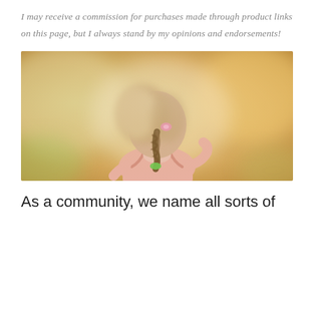I may receive a commission for purchases made through product links on this page, but I always stand by my opinions and endorsements!
[Figure (photo): A young girl seen from behind, wearing a pink tank top, with braided hair tied with a green hair tie and a pink flower clip, standing outdoors with a blurred warm bokeh background.]
As a community, we name all sorts of